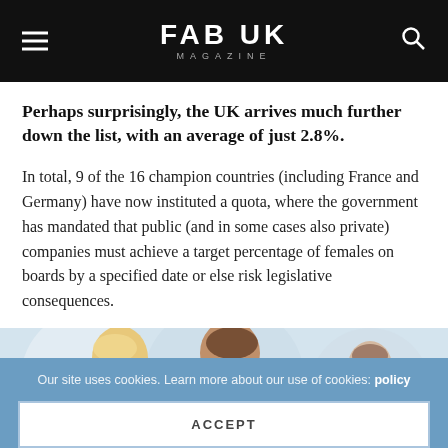FAB UK MAGAZINE
Perhaps surprisingly, the UK arrives much further down the list, with an average of just 2.8%.
In total, 9 of the 16 champion countries (including France and Germany) have now instituted a quota, where the government has mandated that public (and in some cases also private) companies must achieve a target percentage of females on boards by a specified date or else risk legislative consequences.
[Figure (photo): Women in a workplace or office setting, with a blonde woman and a dark-haired woman looking at something together, and more women in the background.]
Our site uses cookies. Learn more about our use of cookies: policy
ACCEPT